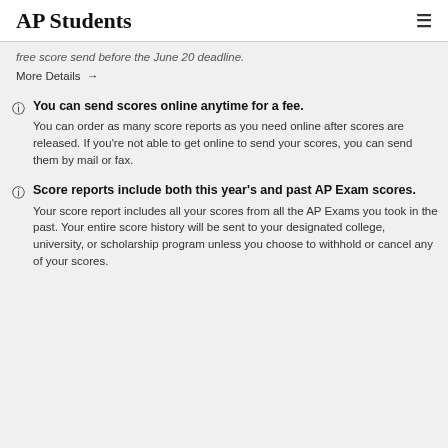AP Students
free score send before the June 20 deadline.
More Details →
You can send scores online anytime for a fee.
You can order as many score reports as you need online after scores are released. If you're not able to get online to send your scores, you can send them by mail or fax.
Score reports include both this year's and past AP Exam scores.
Your score report includes all your scores from all the AP Exams you took in the past. Your entire score history will be sent to your designated college, university, or scholarship program unless you choose to withhold or cancel any of your scores.